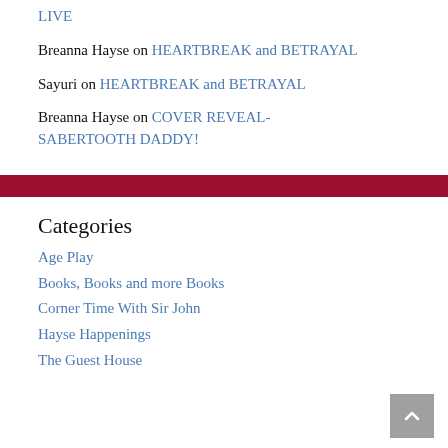LIVE
Breanna Hayse on HEARTBREAK and BETRAYAL
Sayuri on HEARTBREAK and BETRAYAL
Breanna Hayse on COVER REVEAL- SABERTOOTH DADDY!
Categories
Age Play
Books, Books and more Books
Corner Time With Sir John
Hayse Happenings
The Guest House